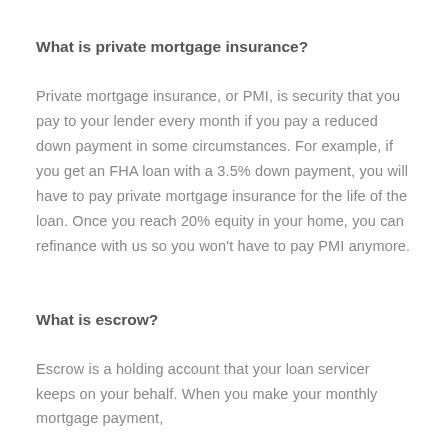What is private mortgage insurance?
Private mortgage insurance, or PMI, is security that you pay to your lender every month if you pay a reduced down payment in some circumstances. For example, if you get an FHA loan with a 3.5% down payment, you will have to pay private mortgage insurance for the life of the loan. Once you reach 20% equity in your home, you can refinance with us so you won't have to pay PMI anymore.
What is escrow?
Escrow is a holding account that your loan servicer keeps on your behalf. When you make your monthly mortgage payment,